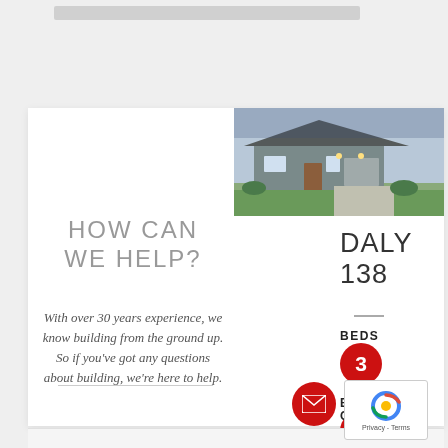[Figure (photo): Exterior photo of a modern single-storey house with landscaped garden at dusk]
HOW CAN WE HELP?
With over 30 years experience, we know building from the ground up. So if you've got any questions about building, we're here to help.
DALY 138
BEDS
3
BATH
2
CAR